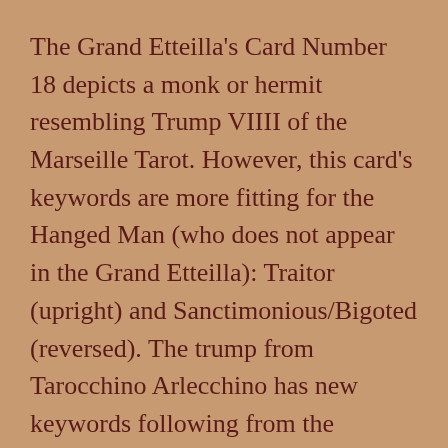The Grand Etteilla's Card Number 18 depicts a monk or hermit resembling Trump VIIII of the Marseille Tarot. However, this card's keywords are more fitting for the Hanged Man (who does not appear in the Grand Etteilla): Traitor (upright) and Sanctimonious/Bigoted (reversed). The trump from Tarocchino Arlecchino has new keywords following from the attributes of the original card in the Bolognese tarocchino.
The upright and reversed keywords I